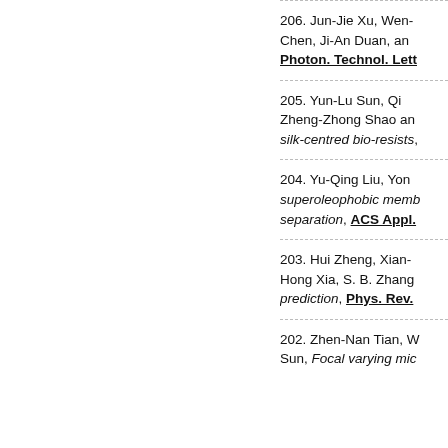206. Jun-Jie Xu, Wen-... Chen, Ji-An Duan, an... Photon. Technol. Lett...
205. Yun-Lu Sun, Qi... Zheng-Zhong Shao an... silk-centred bio-resists,...
204. Yu-Qing Liu, Yon... superoleophobic memb... separation, ACS Appl....
203. Hui Zheng, Xian-... Hong Xia, S. B. Zhang... prediction, Phys. Rev....
202. Zhen-Nan Tian, W... Sun, Focal varying mic...